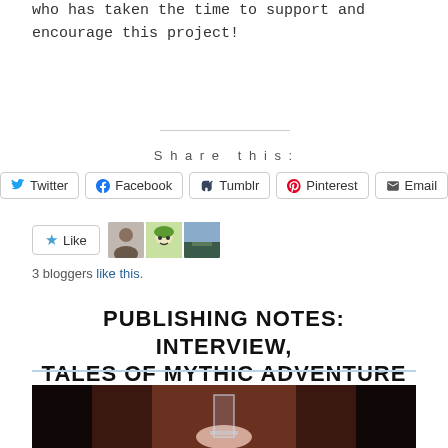who has taken the time to support and encourage this project!
Share this:
Twitter  Facebook  Tumblr  Pinterest  Email
[Figure (screenshot): Like button with star icon and 3 blogger avatars]
3 bloggers like this.
PUBLISHING NOTES: INTERVIEW, TALES OF MYTHIC ADVENTURE
[Figure (photo): Dark photo showing a hand holding a glass]